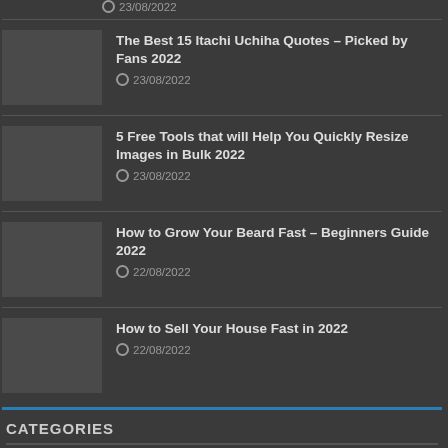23/08/2022
The Best 15 Itachi Uchiha Quotes – Picked by Fans 2022
23/08/2022
5 Free Tools that will Help You Quickly Resize Images in Bulk 2022
23/08/2022
How to Grow Your Beard Fast – Beginners Guide 2022
22/08/2022
How to Sell Your House Fast in 2022
22/08/2022
CATEGORIES
Beauty